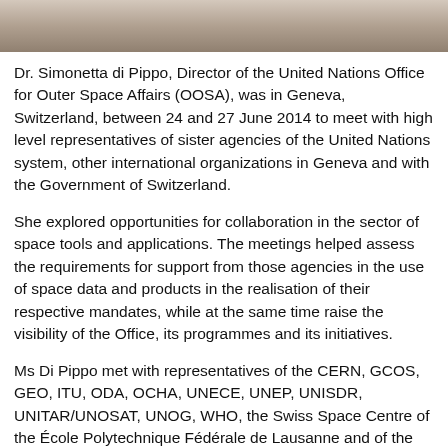[Figure (photo): Top portion of a photo showing people, cropped at the top of the page]
Dr. Simonetta di Pippo, Director of the United Nations Office for Outer Space Affairs (OOSA), was in Geneva, Switzerland, between 24 and 27 June 2014 to meet with high level representatives of sister agencies of the United Nations system, other international organizations in Geneva and with the Government of Switzerland.
She explored opportunities for collaboration in the sector of space tools and applications. The meetings helped assess the requirements for support from those agencies in the use of space data and products in the realisation of their respective mandates, while at the same time raise the visibility of the Office, its programmes and its initiatives.
Ms Di Pippo met with representatives of the CERN, GCOS, GEO, ITU, ODA, OCHA, UNECE, UNEP, UNISDR, UNITAR/UNOSAT, UNOG, WHO, the Swiss Space Centre of the École Polytechnique Fédérale de Lausanne and of the Government of Switzerland. Short-term actions were agreed-upon to develop joint initiatives with some of…
more
Publishing date 30/06/2014